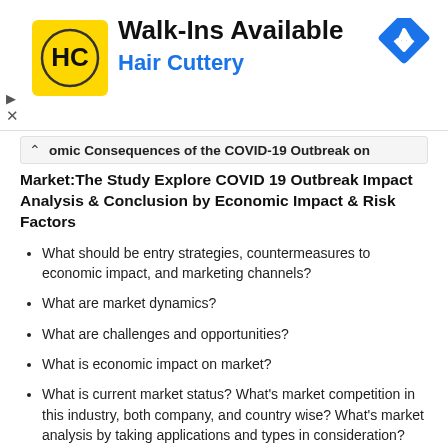[Figure (other): Hair Cuttery advertisement banner with logo, 'Walk-Ins Available' text, and a blue navigation arrow icon]
omic Consequences of the COVID-19 Outbreak on
Market:The Study Explore COVID 19 Outbreak Impact Analysis & Conclusion by Economic Impact & Risk Factors
What should be entry strategies, countermeasures to economic impact, and marketing channels?
What are market dynamics?
What are challenges and opportunities?
What is economic impact on market?
What is current market status? What's market competition in this industry, both company, and country wise? What's market analysis by taking applications and types in consideration?
Geographical Breakdown: The regional and country breakdowns section gives an analysis of the market in each geography and the size of the market by geography and compares their historic and forecast